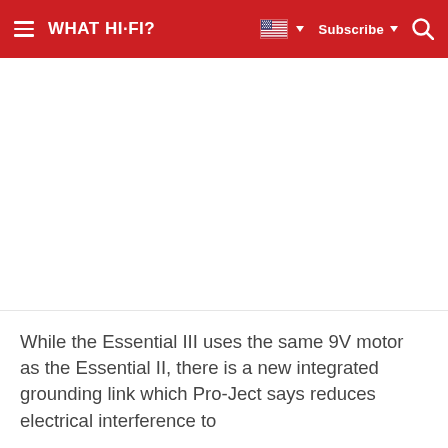WHAT HI-FI? | Subscribe
[Figure (photo): Large white/blank image area in the center of the page]
While the Essential III uses the same 9V motor as the Essential II, there is a new integrated grounding link which Pro-Ject says reduces electrical interference to